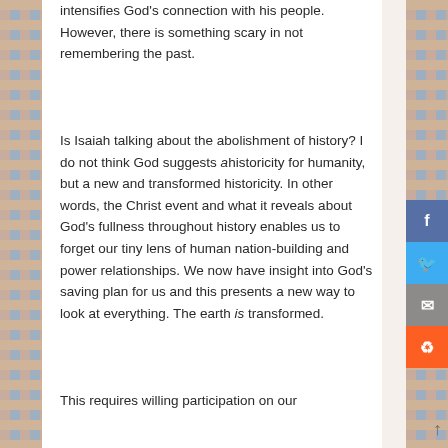intensifies God's connection with his people. However, there is something scary in not remembering the past.
Is Isaiah talking about the abolishment of history? I do not think God suggests ahistoricity for humanity, but a new and transformed historicity. In other words, the Christ event and what it reveals about God's fullness throughout history enables us to forget our tiny lens of human nation-building and power relationships. We now have insight into God's saving plan for us and this presents a new way to look at everything. The earth is transformed.
This requires willing participation on our